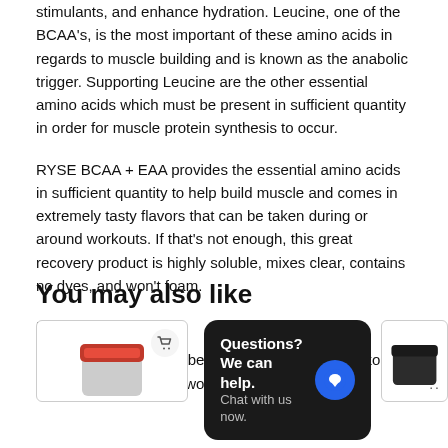stimulants, and enhance hydration. Leucine, one of the BCAA's, is the most important of these amino acids in regards to muscle building and is known as the anabolic trigger. Supporting Leucine are the other essential amino acids which must be present in sufficient quantity in order for muscle protein synthesis to occur.
RYSE BCAA + EAA provides the essential amino acids in sufficient quantity to help build muscle and comes in extremely tasty flavors that can be taken during or around workouts. If that's not enough, this great recovery product is highly soluble, mixes clear, contains no dyes, and won't foam.
Directions for use
Mix with water and sip before, during, or after workouts. Optimal usage is intra workout.
You may also like
[Figure (photo): Product card showing a supplement container with red lid and a shopping cart icon]
[Figure (photo): Chat widget overlay with dark background: 'Questions? We can help. Chat with us now.' with a blue speech bubble icon]
[Figure (photo): Second product card showing a dark supplement container with cart icon dots]